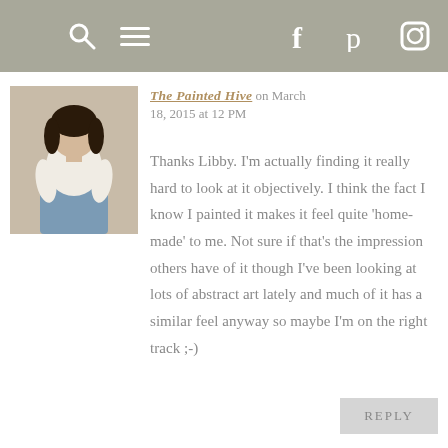navigation bar with search, menu, Facebook, Pinterest, Instagram icons
[Figure (photo): Profile photo of a woman in a white shirt and jeans sitting on a light background]
The Painted Hive on March 18, 2015 at 12 PM
Thanks Libby. I'm actually finding it really hard to look at it objectively. I think the fact I know I painted it makes it feel quite 'home-made' to me. Not sure if that's the impression others have of it though I've been looking at lots of abstract art lately and much of it has a similar feel anyway so maybe I'm on the right track ;-)
REPLY